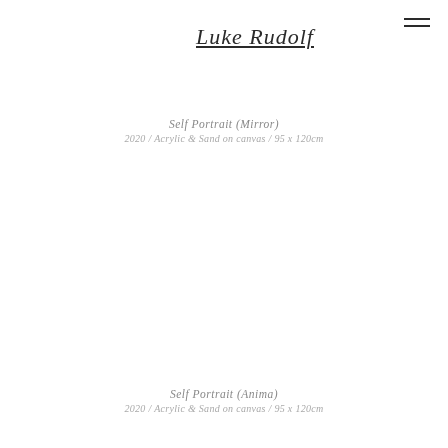Luke Rudolf
Self Portrait (Mirror)
2020 / Acrylic & Sand on canvas / 95 x 120cm
Self Portrait (Anima)
2020 / Acrylic & Sand on canvas / 95 x 120cm